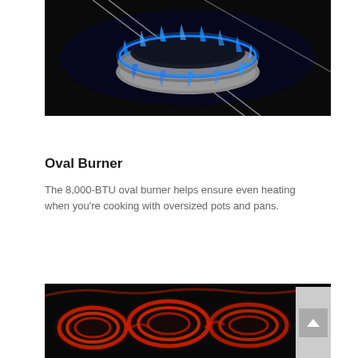[Figure (photo): Close-up product photo of an oval gas burner with blue flames glowing around it on a dark background. The burner has a sleek silver and black oval shape with blue flame jets around the perimeter.]
Oval Burner
The 8,000-BTU oval burner helps ensure even heating when you're cooking with oversized pots and pans.
[Figure (photo): Close-up photo of red-glowing electric burner coils on a dark background, showing the coil heating elements lit up in red.]